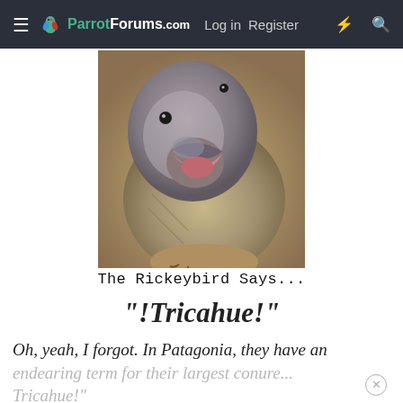≡  ParrotForums.com  Log in  Register  ⚡  🔍
[Figure (photo): Close-up photo of a parrot (buff/grey colored) with beak open, facing slightly left, on a tan background]
The Rickeybird Says...
"!Tricahue!"
Oh, yeah, I forgot. In Patagonia, they have an endearing term for their largest conure... Tricahue!"